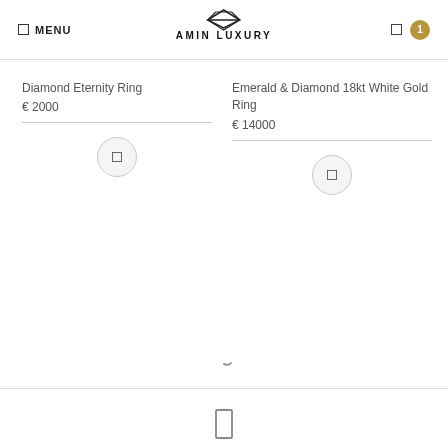MENU | AMIN LUXURY
Diamond Eternity Ring
€ 2000
Emerald & Diamond 18kt White Gold Ring
€ 14000
[Figure (other): Loading spinner / partial arc]
[Figure (other): Footer placeholder rectangle icon]